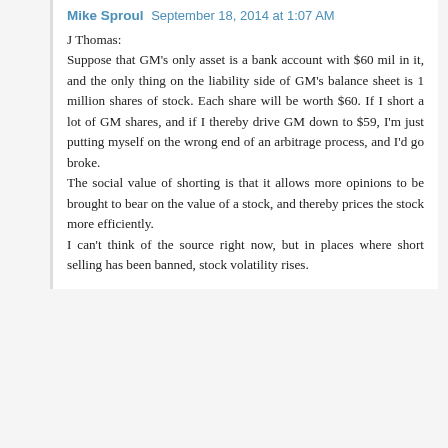Mike Sproul  September 18, 2014 at 1:07 AM
J Thomas:
Suppose that GM's only asset is a bank account with $60 mil in it, and the only thing on the liability side of GM's balance sheet is 1 million shares of stock. Each share will be worth $60. If I short a lot of GM shares, and if I thereby drive GM down to $59, I'm just putting myself on the wrong end of an arbitrage process, and I'd go broke.
The social value of shorting is that it allows more opinions to be brought to bear on the value of a stock, and thereby prices the stock more efficiently.
I can't think of the source right now, but in places where short selling has been banned, stock volatility rises.